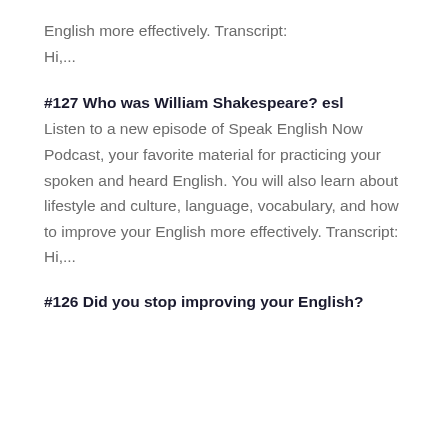English more effectively. Transcript: Hi,...
#127 Who was William Shakespeare? esl
Listen to a new episode of Speak English Now Podcast, your favorite material for practicing your spoken and heard English. You will also learn about lifestyle and culture, language, vocabulary, and how to improve your English more effectively. Transcript: Hi,...
#126 Did you stop improving your English?